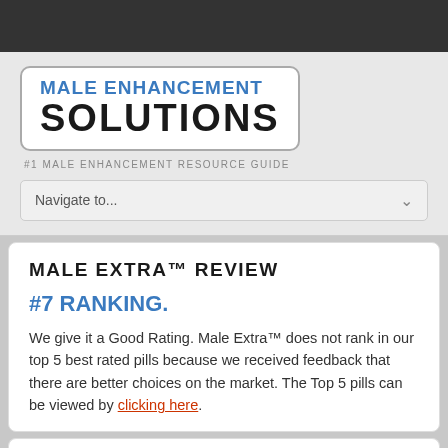[Figure (logo): Male Enhancement Solutions logo — blue text 'MALE ENHANCEMENT' over large black bold 'SOLUTIONS', inside a rounded rectangle]
#1 MALE ENHANCEMENT RESOURCE GUIDE
Navigate to...
MALE EXTRA™ REVIEW
#7 RANKING.
We give it a Good Rating. Male Extra™ does not rank in our top 5 best rated pills because we received feedback that there are better choices on the market. The Top 5 pills can be viewed by clicking here.